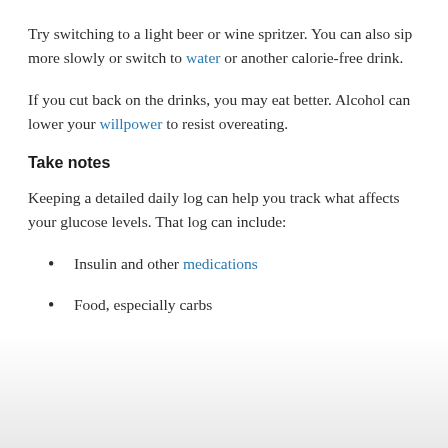Try switching to a light beer or wine spritzer. You can also sip more slowly or switch to water or another calorie-free drink.
If you cut back on the drinks, you may eat better. Alcohol can lower your willpower to resist overeating.
Take notes
Keeping a detailed daily log can help you track what affects your glucose levels. That log can include:
Insulin and other medications
Food, especially carbs